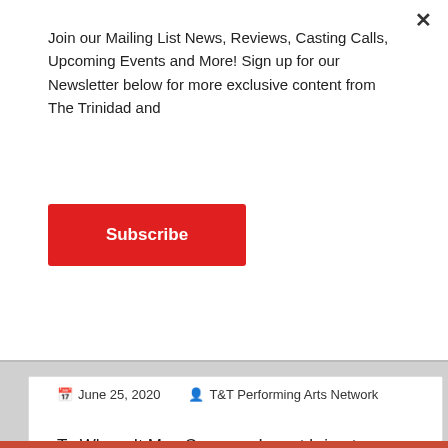Join our Mailing List News, Reviews, Casting Calls, Upcoming Events and More! Sign up for our Newsletter below for more exclusive content from The Trinidad and
Subscribe
June 25, 2020   T&T Performing Arts Network
To Whom It May Concern, I must bring to your attention something of great distress to our teachers and students. CXC has maintained that the
Continue reading »